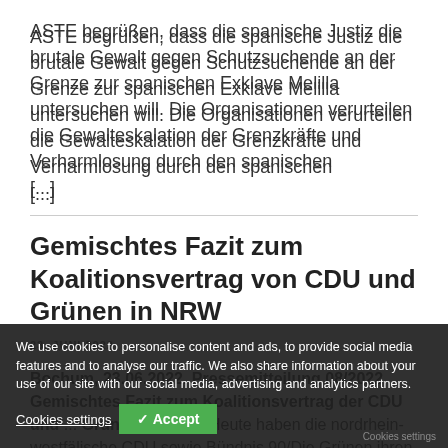ASTE begrüßen, dass die spanische Justiz die brutale Gewalt gegen Schutzsuchende an der Grenze zur spanischen Exklave Melilla untersuchen will. Die Organisationen verurteilen die Gewalteskalation der Grenzkräfte und Verharmlosung durch den spanischen [...]
Gemischtes Fazit zum Koalitionsvertrag von CDU und Grünen in NRW
23. JUNI 2022
Bochum, 23.06.2022, Pressemitteilung 08/2022 Gemischtes Fazit zum Koalitionsvertrag der CDU und ... Grünen in NRW: Heute haben die nordrhein-westfälische CDU sowie Bündnis 90/Die Grünen ihren gemeinsamen Koalitionsvertrag vorgestellt.
We use cookies to personalise content and ads, to provide social media features and to analyse our traffic. We also share information about your use of our site with our social media, advertising and analytics partners.